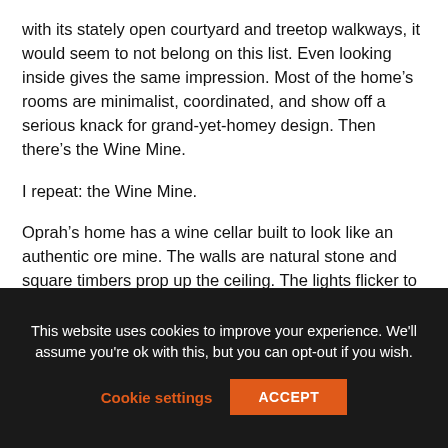with its stately open courtyard and treetop walkways, it would seem to not belong on this list. Even looking inside gives the same impression. Most of the home's rooms are minimalist, coordinated, and show off a serious knack for grand-yet-homey design. Then there's the Wine Mine.
I repeat: the Wine Mine.
Oprah's home has a wine cellar built to look like an authentic ore mine. The walls are natural stone and square timbers prop up the ceiling. The lights flicker to mimic old flame lanterns. A sound system plays mining ambiance, including the regular clanging of pickaxes. But one feature beats them all: the actual, working mining
This website uses cookies to improve your experience. We'll assume you're ok with this, but you can opt-out if you wish.